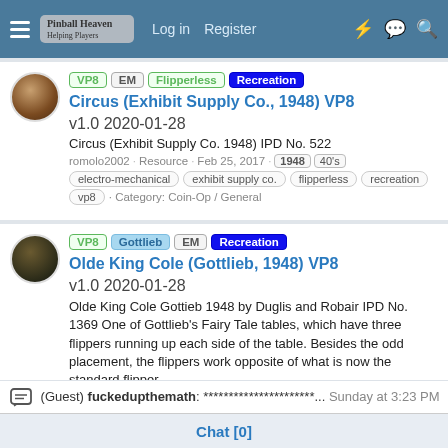Log in  Register  [icons]
VP8 EM Flipperless Recreation Circus (Exhibit Supply Co., 1948) VP8 v1.0 2020-01-28
Circus (Exhibit Supply Co. 1948) IPD No. 522
romolo2002 · Resource · Feb 25, 2017 · 1948  40's  electro-mechanical  exhibit supply co.  flipperless  recreation  vp8 · Category: Coin-Op / General
VP8 Gottlieb EM Recreation Olde King Cole (Gottlieb, 1948) VP8 v1.0 2020-01-28
Olde King Cole Gottieb 1948 by Duglis and Robair IPD No. 1369 One of Gottlieb's Fairy Tale tables, which have three flippers running up each side of the table. Besides the odd placement, the flippers work opposite of what is now the standard flipper.
Duglis · Resource · Oct 30, 2014 · 1948  40's
(Guest) fuckedupthemath: ********************** ... Sunday at 3:23 PM
Chat [0]